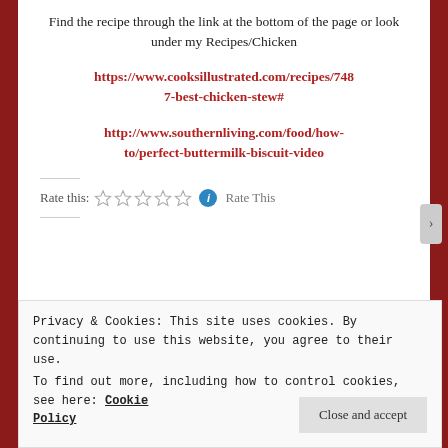Find the recipe through the link at the bottom of the page or look under my Recipes/Chicken
https://www.cooksillustrated.com/recipes/7487-best-chicken-stew#
http://www.southernliving.com/food/how-to/perfect-buttermilk-biscuit-video
Rate this: ☆☆☆☆☆ ⓘ Rate This
Privacy & Cookies: This site uses cookies. By continuing to use this website, you agree to their use.
To find out more, including how to control cookies, see here: Cookie Policy